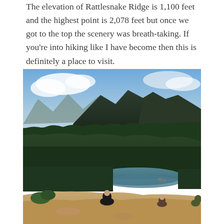The elevation of Rattlesnake Ridge is 1,100 feet and the highest point is 2,078 feet but once we got to the top the scenery was breath-taking. If you're into hiking like I have become then this is definitely a place to visit.
[Figure (photo): View from the top of Rattlesnake Ridge showing forested mountains, a lake below, and people sitting on rocky ledge in the foreground with blue sky and clouds above.]